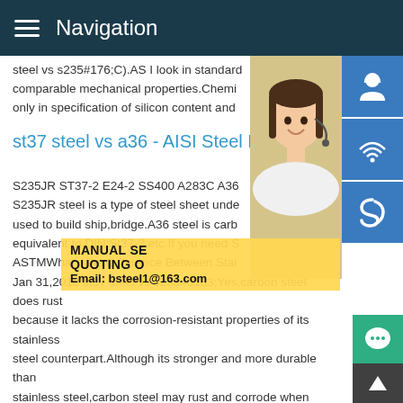Navigation
steel vs s235#176;C).AS I look in standard comparable mechanical properties.Chemi only in specification of silicon content and
st37 steel vs a36 - AISI Steel Plate
S235JR ST37-2 E24-2 SS400 A283C A36 S235JR steel is a type of steel sheet unde used to build ship,bridge.A36 steel is carb equivalent to DIN:St37-2,etc.If you need S ASTMWhat's the Difference Between Stai Jan 31,2018 st37 steel vs s235#0183;Yes,carbon steel does rust because it lacks the corrosion-resistant properties of its stainless steel counterpart.Although its stronger and more durable than stainless steel,carbon steel may rust and corrode when expos moisture.Even small amounts of moisture,including moisture w in the air,…
[Figure (photo): Woman with headset smiling, customer service representative]
[Figure (infographic): Blue icon buttons: headset/support, phone/call, Skype; green chat bubble; dark back-to-top arrow]
MANUAL SE QUOTING O Email: bsteel1@163.com